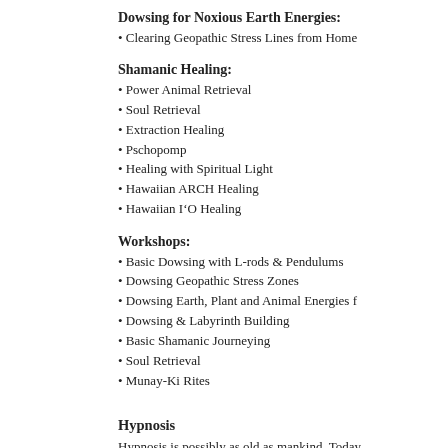Dowsing for Noxious Earth Energies:
• Clearing Geopathic Stress Lines from Home
Shamanic Healing:
• Power Animal Retrieval
• Soul Retrieval
• Extraction Healing
• Pschopomp
• Healing with Spiritual Light
• Hawaiian ARCH Healing
• Hawaiian I'O Healing
Workshops:
• Basic Dowsing with L-rods & Pendulums
• Dowsing Geopathic Stress Zones
• Dowsing Earth, Plant and Animal Energies f
• Dowsing & Labyrinth Building
• Basic Shamanic Journeying
• Soul Retrieval
• Munay-Ki Rites
Hypnosis
Hypnosis is possibly as old as mankind. Today health care, dentistry, law enforcement, profes Ph.d., "Hypnosis is a collection of methods tha effectively.  One such method is called trance consciousness that enables your mind and bod